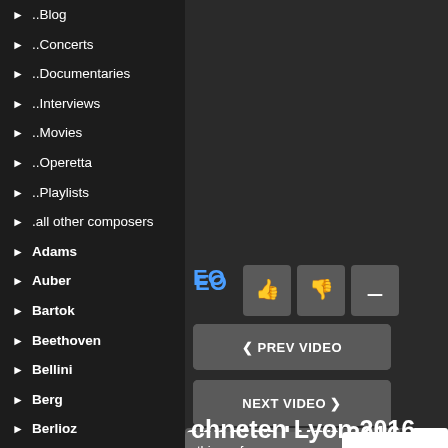..Blog
..Concerts
..Documentaries
..Interviews
..Movies
..Operetta
..Playlists
.all other composers
Adams
Auber
Bartok
Beethoven
Bellini
Berg
Berlioz
Bernstein
[Figure (screenshot): Right panel of a music website showing navigation buttons (PREV VIDEO, NEXT VIDEO), like/dislike/watch-later icon buttons, a performance info box, a read or write comments link, a reCAPTCHA widget, and partial text 'chneten Lyon 2016' at the bottom.]